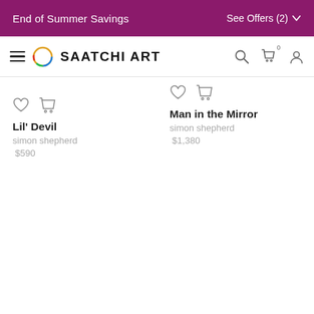End of Summer Savings   See Offers (2)
[Figure (logo): Saatchi Art logo with colorful circle and bold text navigation bar with hamburger menu, search, cart, and user icons]
[Figure (other): Heart and cart icons for product Lil' Devil]
Lil' Devil
simon shepherd
$590
[Figure (other): Heart and cart icons for product Man in the Mirror]
Man in the Mirror
simon shepherd
$1,380
[Figure (other): Heart and cart icons for third product (bottom left, partially visible)]
[Figure (other): Heart and cart icons for fourth product (bottom right, partially visible)]